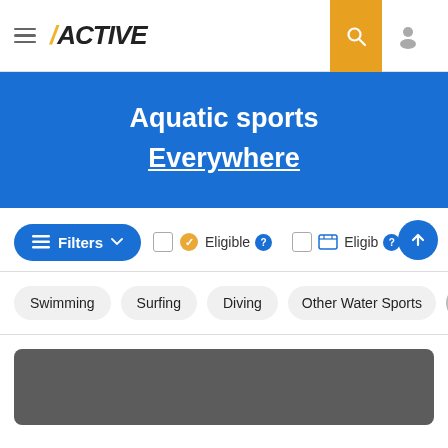[Figure (screenshot): ACTIVE website navigation bar with hamburger menu, ACTIVE logo, search icon, and user icon]
Aquatic sports Everywhere
[Figure (screenshot): Filter row with Filters button, two Eligible checkboxes with icons and help icons, and a scroll-up button]
Swimming
Surfing
Diving
Other Water Sports
[Figure (photo): Dark gray placeholder card image area]